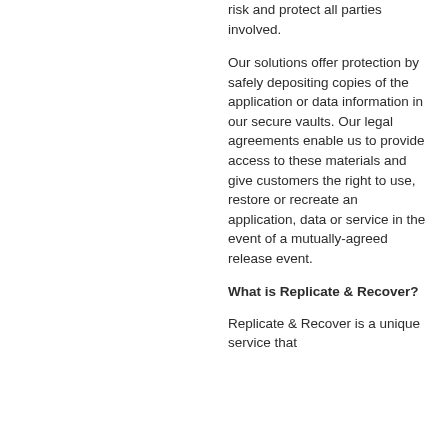risk and protect all parties involved.
Our solutions offer protection by safely depositing copies of the application or data information in our secure vaults. Our legal agreements enable us to provide access to these materials and give customers the right to use, restore or recreate an application, data or service in the event of a mutually-agreed release event.
What is Replicate & Recover?
Replicate & Recover is a unique service that